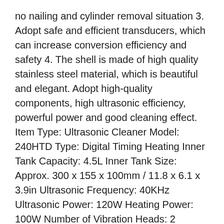no nailing and cylinder removal situation 3. Adopt safe and efficient transducers, which can increase conversion efficiency and safety 4. The shell is made of high quality stainless steel material, which is beautiful and elegant. Adopt high-quality components, high ultrasonic efficiency, powerful power and good cleaning effect. Item Type: Ultrasonic Cleaner Model: 240HTD Type: Digital Timing Heating Inner Tank Capacity: 4.5L Inner Tank Size: Approx. 300 x 155 x 100mm / 11.8 x 6.1 x 3.9in Ultrasonic Frequency: 40KHz Ultrasonic Power: 120W Heating Power: 100W Number of Vibration Heads: 2 Working Time Range: 1-99min Temperature Range: 0-80 Inner Material: SUS304 Stainless Steel Shell Material: Stainless Steel Basket: Equipped Sound Reduction Cover: Equipped. Q: What is an ultrasonic cleaner? A: Ultrasonic cleaning is based on the cavitation effect caused by high frequency ultrasonic wave vibration signal in the fluid. Microscopic bubbles are formed, and then implode violently causing